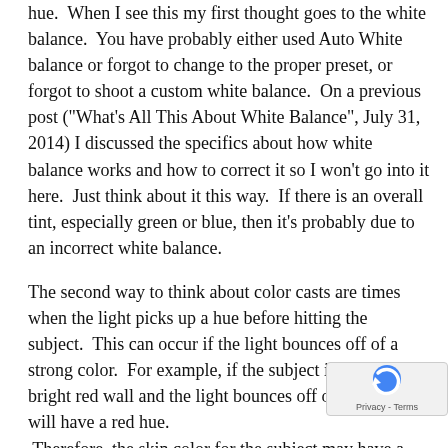hue.  When I see this my first thought goes to the white balance.  You have probably either used Auto White balance or forgot to change to the proper preset, or forgot to shoot a custom white balance.  On a previous post ("What's All This About White Balance", July 31, 2014) I discussed the specifics about how white balance works and how to correct it so I won't go into it here.  Just think about it this way.  If there is an overall tint, especially green or blue, then it's probably due to an incorrect white balance.
The second way to think about color casts are times when the light picks up a hue before hitting the subject.  This can occur if the light bounces off of a strong color.  For example, if the subject is next to a bright red wall and the light bounces off of that wall it will have a red hue.  Therefore, the skin color for the subject may have a red tint to it, depending on where the light falls.
So what do you do when faced with this type of colo  The best way to handle this is to recognize it before taking
[Figure (logo): Privacy & Terms reCAPTCHA badge with blue circular arrow icon]